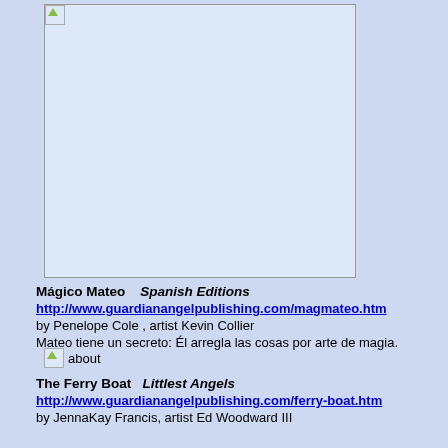[Figure (photo): Book cover image placeholder for Mágico Mateo Spanish Editions, shown as a large light blue rectangle with a broken image icon in the top left corner]
Mágico Mateo   Spanish Editions
http://www.guardianangelpublishing.com/magmateo.htm
by Penelope Cole , artist Kevin Collier
Mateo tiene un secreto:  Él arregla las cosas por arte de magia.
[Figure (other): Small broken image icon labeled 'about']
The Ferry Boat  Littlest Angels
http://www.guardianangelpublishing.com/ferry-boat.htm
by JennaKay Francis, artist Ed Woodward III